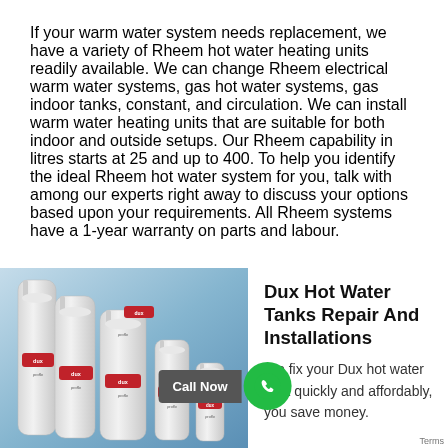If your warm water system needs replacement, we have a variety of Rheem hot water heating units readily available. We can change Rheem electrical warm water systems, gas hot water systems, gas indoor tanks, constant, and circulation. We can install warm water heating units that are suitable for both indoor and outside setups. Our Rheem capability in litres starts at 25 and up to 400. To help you identify the ideal Rheem hot water system for you, talk with among our experts right away to discuss your options based upon your requirements. All Rheem systems have a 1-year warranty on parts and labour.
[Figure (photo): Photo of multiple Dux Proflo hot water tanks of various sizes arranged together against a blue background]
Dux Hot Water Tanks Repair And Installations
We fix your Dux hot water tank quickly and affordably, you save money. water equipment that